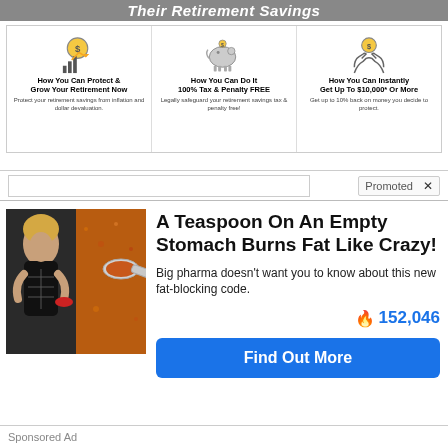[Figure (infographic): Top ad banner with three cards about retirement savings: icons for money bag with chart, piggy bank, and hands holding coin. Cards titled: How You Can Protect & Grow Your Retirement Now, How You Can Do It 100% Tax & Penalty FREE, How You Can Instantly Get Up To $10,000* Or More.]
Promoted X
[Figure (photo): Two photos side by side: a muscular fit woman in a gym holding something, and a teaspoon filled with brown spice/powder.]
A Teaspoon On An Empty Stomach Burns Fat Like Crazy!
Big pharma doesn't want you to know about this new fat-blocking code.
🔥 152,046
Find Out More
Sponsored Ad